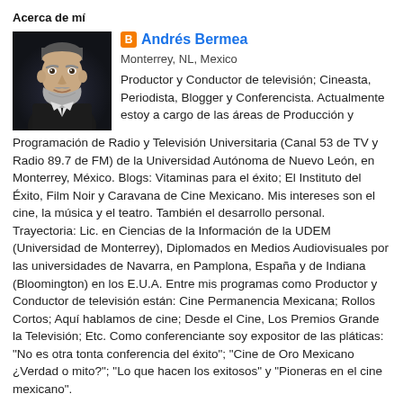Acerca de mí
[Figure (photo): Portrait photo of Andrés Bermea, a man with a grey beard wearing a dark suit, photographed against a dark background.]
Andrés Bermea
Monterrey, NL, Mexico
Productor y Conductor de televisión; Cineasta, Periodista, Blogger y Conferencista. Actualmente estoy a cargo de las áreas de Producción y Programación de Radio y Televisión Universitaria (Canal 53 de TV y Radio 89.7 de FM) de la Universidad Autónoma de Nuevo León, en Monterrey, México. Blogs: Vitaminas para el éxito; El Instituto del Éxito, Film Noir y Caravana de Cine Mexicano. Mis intereses son el cine, la música y el teatro. También el desarrollo personal. Trayectoria: Lic. en Ciencias de la Información de la UDEM (Universidad de Monterrey), Diplomados en Medios Audiovisuales por las universidades de Navarra, en Pamplona, España y de Indiana (Bloomington) en los E.U.A. Entre mis programas como Productor y Conductor de televisión están: Cine Permanencia Mexicana; Rollos Cortos; Aquí hablamos de cine; Desde el Cine, Los Premios Grande la Televisión; Etc. Como conferenciante soy expositor de las pláticas: "No es otra tonta conferencia del éxito"; "Cine de Oro Mexicano ¿Verdad o mito?"; "Lo que hacen los exitosos" y "Pioneras en el cine mexicano".